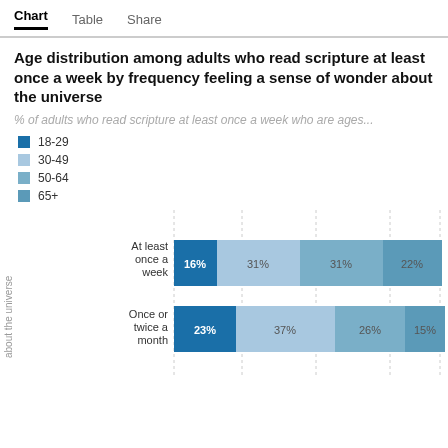Chart  Table  Share
Age distribution among adults who read scripture at least once a week by frequency feeling a sense of wonder about the universe
% of adults who read scripture at least once a week who are ages...
18-29
30-49
50-64
65+
[Figure (stacked-bar-chart): Age distribution among adults who read scripture at least once a week]